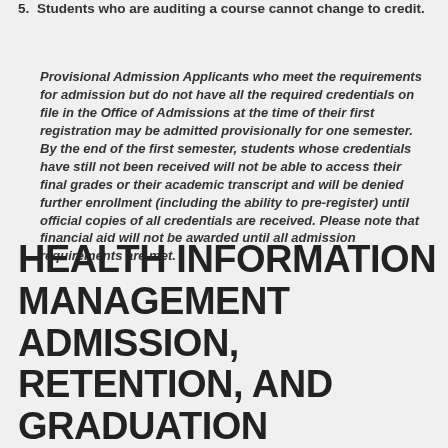5. Students who are auditing a course cannot change to credit.
Provisional Admission Applicants who meet the requirements for admission but do not have all the required credentials on file in the Office of Admissions at the time of their first registration may be admitted provisionally for one semester. By the end of the first semester, students whose credentials have still not been received will not be able to access their final grades or their academic transcript and will be denied further enrollment (including the ability to pre-register) until official copies of all credentials are received. Please note that financial aid will not be awarded until all admission requirements are met.
HEALTH INFORMATION MANAGEMENT ADMISSION, RETENTION, AND GRADUATION